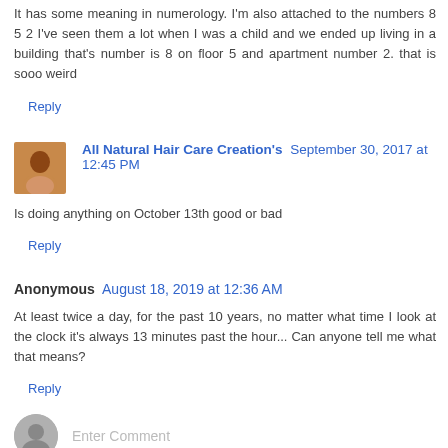It has some meaning in numerology. I'm also attached to the numbers 8 5 2 I've seen them a lot when I was a child and we ended up living in a building that's number is 8 on floor 5 and apartment number 2. that is sooo weird
Reply
All Natural Hair Care Creation's  September 30, 2017 at 12:45 PM
Is doing anything on October 13th good or bad
Reply
Anonymous  August 18, 2019 at 12:36 AM
At least twice a day, for the past 10 years, no matter what time I look at the clock it's always 13 minutes past the hour... Can anyone tell me what that means?
Reply
Enter Comment